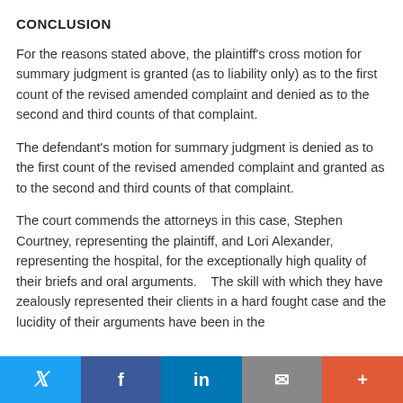CONCLUSION
For the reasons stated above, the plaintiff's cross motion for summary judgment is granted (as to liability only) as to the first count of the revised amended complaint and denied as to the second and third counts of that complaint.
The defendant's motion for summary judgment is denied as to the first count of the revised amended complaint and granted as to the second and third counts of that complaint.
The court commends the attorneys in this case, Stephen Courtney, representing the plaintiff, and Lori Alexander, representing the hospital, for the exceptionally high quality of their briefs and oral arguments.    The skill with which they have zealously represented their clients in a hard fought case and the lucidity of their arguments have been in the
Twitter | Facebook | LinkedIn | Email | More